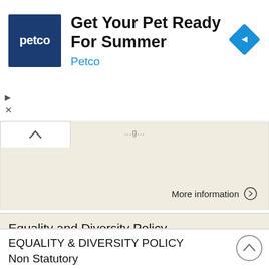[Figure (screenshot): Petco advertisement banner: dark blue square logo with 'petco' text, headline 'Get Your Pet Ready For Summer', subtext 'Petco', and a blue diamond navigation icon on the right]
More information →
Equality and Diversity Policy
Equality and Diversity Policy Policy Statement BIC Innovation is committed to encouraging diversity and eliminating discrimination in both its role as an employer and as a provider of services. BIC Innovation
More information →
EQUALITY & DIVERSITY POLICY Non Statutory